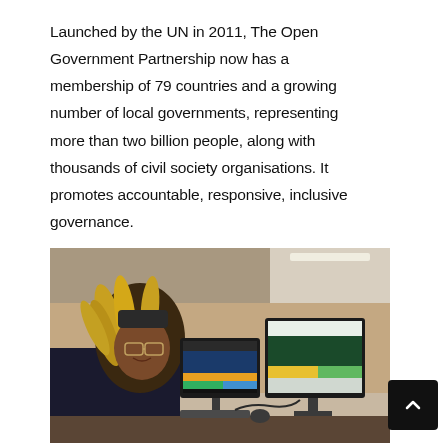Launched by the UN in 2011, The Open Government Partnership now has a membership of 79 countries and a growing number of local governments, representing more than two billion people, along with thousands of civil society organisations. It promotes accountable, responsive, inclusive governance.
[Figure (photo): A woman with dreadlocks and glasses sits at a desk looking at two computer monitors in an office environment.]